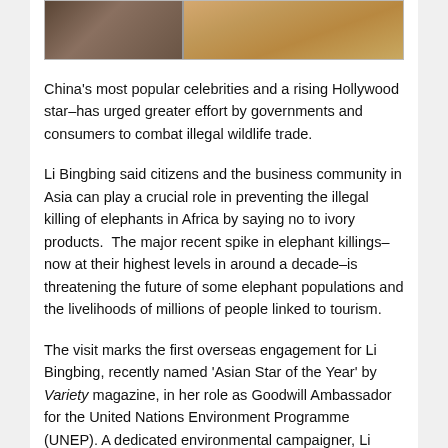[Figure (photo): Cropped photo strip showing two images side by side: left image appears to show a person near an animal, right image shows a sandy/dusty outdoor scene.]
China's most popular celebrities and a rising Hollywood star–has urged greater effort by governments and consumers to combat illegal wildlife trade.
Li Bingbing said citizens and the business community in Asia can play a crucial role in preventing the illegal killing of elephants in Africa by saying no to ivory products.  The major recent spike in elephant killings–now at their highest levels in around a decade–is threatening the future of some elephant populations and the livelihoods of millions of people linked to tourism.
The visit marks the first overseas engagement for Li Bingbing, recently named 'Asian Star of the Year' by Variety magazine, in her role as Goodwill Ambassador for the United Nations Environment Programme (UNEP). A dedicated environmental campaigner, Li Bingbing founded the L.O.V.E Green Movement in 2009 which